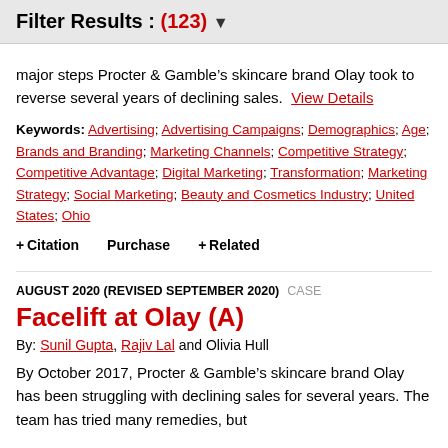Filter Results : (123) ▼
major steps Procter & Gamble's skincare brand Olay took to reverse several years of declining sales. View Details
Keywords: Advertising; Advertising Campaigns; Demographics; Age; Brands and Branding; Marketing Channels; Competitive Strategy; Competitive Advantage; Digital Marketing; Transformation; Marketing Strategy; Social Marketing; Beauty and Cosmetics Industry; United States; Ohio
+ Citation   Purchase   + Related
AUGUST 2020 (REVISED SEPTEMBER 2020)   CASE
Facelift at Olay (A)
By: Sunil Gupta, Rajiv Lal and Olivia Hull
By October 2017, Procter & Gamble's skincare brand Olay has been struggling with declining sales for several years. The team has tried many remedies, but